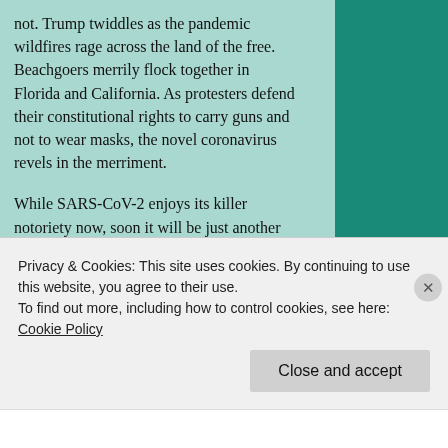not. Trump twiddles as the pandemic wildfires rage across the land of the free. Beachgoers merrily flock together in Florida and California. As protesters defend their constitutional rights to carry guns and not to wear masks, the novel coronavirus revels in the merriment.
While SARS-CoV-2 enjoys its killer notoriety now, soon it will be just another garden-variety nuisance.
The most famous example of a virus's fall from infamy is the Spanish flu pandemic caused by the H1N1 virus from 1918 to 1919. Interestingly,
Privacy & Cookies: This site uses cookies. By continuing to use this website, you agree to their use.
To find out more, including how to control cookies, see here: Cookie Policy